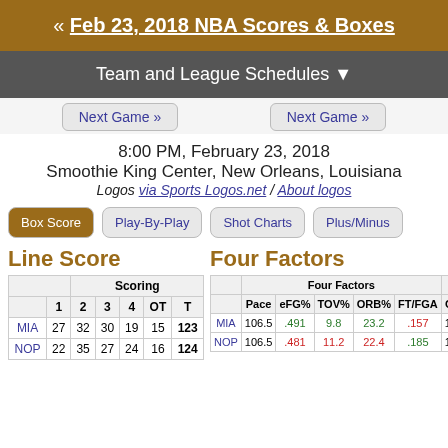« Feb 23, 2018 NBA Scores & Boxes
Team and League Schedules ▼
Next Game »
Next Game »
8:00 PM, February 23, 2018
Smoothie King Center, New Orleans, Louisiana
Logos via Sports Logos.net / About logos
Box Score | Play-By-Play | Shot Charts | Plus/Minus
Line Score
Four Factors
|  | 1 | 2 | 3 | 4 | OT | T |
| --- | --- | --- | --- | --- | --- | --- |
| MIA | 27 | 32 | 30 | 19 | 15 | 123 |
| NOP | 22 | 35 | 27 | 24 | 16 | 124 |
|  | Pace | eFG% | TOV% | ORB% | FT/FGA | ORtg |
| --- | --- | --- | --- | --- | --- | --- |
| MIA | 106.5 | .491 | 9.8 | 23.2 | .157 | 104.6 |
| NOP | 106.5 | .481 | 11.2 | 22.4 | .185 | 105.4 |